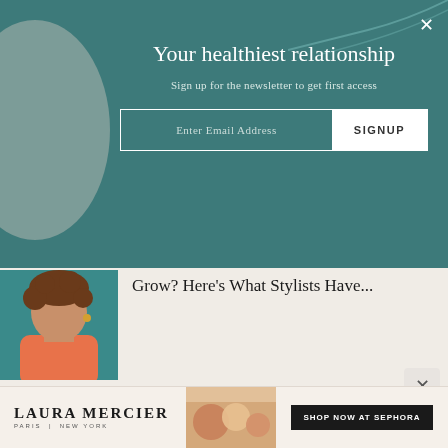Your healthiest relationship
Sign up for the newsletter to get first access
Enter Email Address
SIGNUP
[Figure (photo): Person with curly hair in an orange/coral top, seated against a teal background]
Grow? Here's What Stylists Have...
“Perms generally work on all hair types, but the ideal
[Figure (advertisement): Laura Mercier Paris New York advertisement banner with product images and SHOP NOW AT SEPHORA call to action]